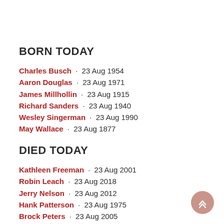BORN TODAY
Charles Busch · 23 Aug 1954
Aaron Douglas · 23 Aug 1971
James Millhollin · 23 Aug 1915
Richard Sanders · 23 Aug 1940
Wesley Singerman · 23 Aug 1990
May Wallace · 23 Aug 1877
DIED TODAY
Kathleen Freeman · 23 Aug 2001
Robin Leach · 23 Aug 2018
Jerry Nelson · 23 Aug 2012
Hank Patterson · 23 Aug 1975
Brock Peters · 23 Aug 2005